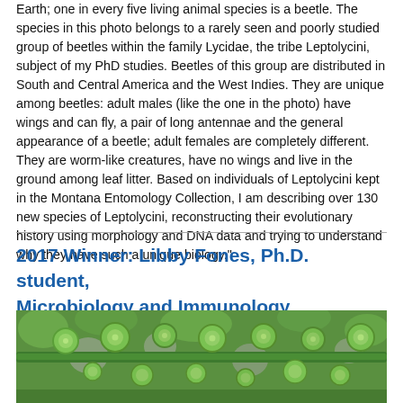Earth; one in every five living animal species is a beetle. The species in this photo belongs to a rarely seen and poorly studied group of beetles within the family Lycidae, the tribe Leptolycini, subject of my PhD studies. Beetles of this group are distributed in South and Central America and the West Indies. They are unique among beetles: adult males (like the one in the photo) have wings and can fly, a pair of long antennae and the general appearance of a beetle; adult females are completely different. They are worm-like creatures, have no wings and live in the ground among leaf litter. Based on individuals of Leptolycini kept in the Montana Entomology Collection, I am describing over 130 new species of Leptolycini, reconstructing their evolutionary history using morphology and DNA data and trying to understand why they have such a unique biology."
2017 Winner: Libby Fones, Ph.D. student, Microbiology and Immunology
[Figure (photo): Microscopy image showing green circular/spherical structures (likely cells or organisms) along a green stem or filament, viewed under magnification]